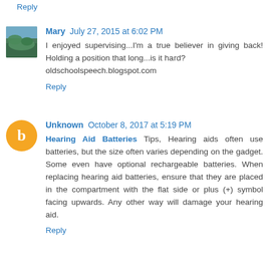Reply
Mary  July 27, 2015 at 6:02 PM
I enjoyed supervising...I'm a true believer in giving back! Holding a position that long...is it hard?
oldschoolspeech.blogspot.com
Reply
Unknown  October 8, 2017 at 5:19 PM
Hearing Aid Batteries Tips, Hearing aids often use batteries, but the size often varies depending on the gadget. Some even have optional rechargeable batteries. When replacing hearing aid batteries, ensure that they are placed in the compartment with the flat side or plus (+) symbol facing upwards. Any other way will damage your hearing aid.
Reply